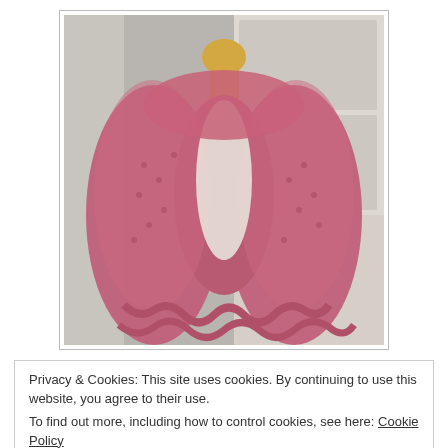[Figure (photo): Photo of a pink/rose crocheted or knitted scarf/wrap draped over a dress form mannequin with a yellow neck, set against a white door background.]
Privacy & Cookies: This site uses cookies. By continuing to use this website, you agree to their use.
To find out more, including how to control cookies, see here: Cookie Policy
Close and accept
great fashion designer, but I love it when the fashion